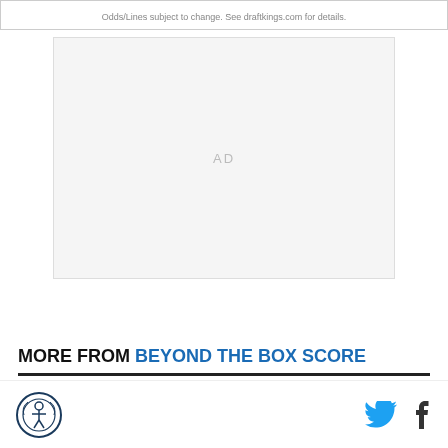Odds/Lines subject to change. See draftkings.com for details.
[Figure (other): Advertisement placeholder box with 'AD' label in center]
MORE FROM BEYOND THE BOX SCORE
Logo and social media icons (Twitter, Facebook)